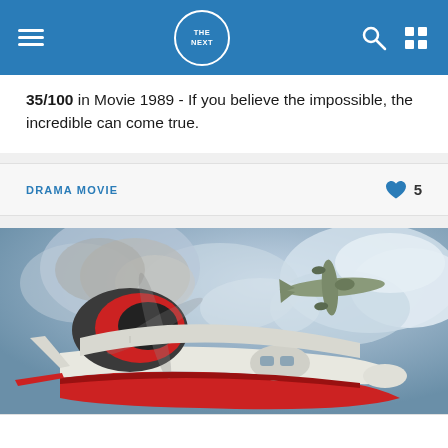THE NEXT (logo nav bar)
35/100 in Movie 1989 - If you believe the impossible, the incredible can come true.
DRAMA MOVIE  ♥ 5
[Figure (photo): Aerial scene showing a red-and-white seaplane/flying boat in the foreground with a spinning propeller, trailing smoke, with another military aircraft visible in the background against a cloudy sky.]